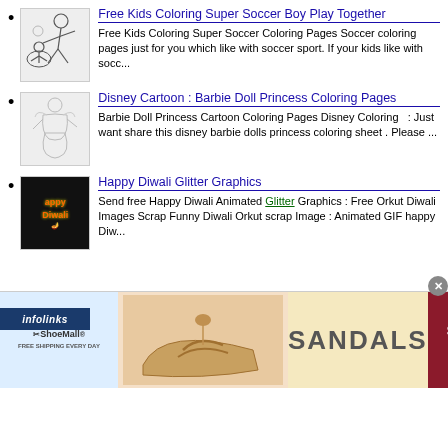Free Kids Coloring Super Soccer Boy Play Together — Free Kids Coloring Super Soccer Coloring Pages Soccer coloring pages just for you which like with soccer sport. If your kids like with socc...
Disney Cartoon : Barbie Doll Princess Coloring Pages — Barbie Doll Princess Cartoon Coloring Pages Disney Coloring : Just want share this disney barbie dolls princess coloring sheet . Please ...
Happy Diwali Glitter Graphics — Send free Happy Diwali Animated Glitter Graphics : Free Orkut Diwali Images Scrap Funny Diwali Orkut scrap Image : Animated GIF happy Diw...
[Figure (screenshot): infolinks advertisement bar at bottom]
[Figure (screenshot): ShoeMall SANDALS SHOP NOW advertisement banner]